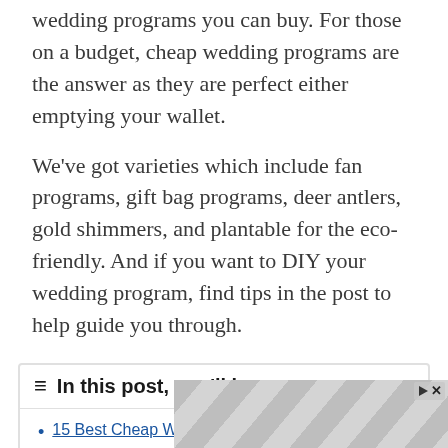wedding programs you can buy. For those on a budget, cheap wedding programs are the answer as they are perfect either emptying your wallet.
We've got varieties which include fan programs, gift bag programs, deer antlers, gold shimmers, and plantable for the eco-friendly. And if you want to DIY your wedding program, find tips in the post to help guide you through.
☰ In this post, you'll learn:
15 Best Cheap Wedding Programs
1.
2.
[Figure (other): Advertisement banner with geometric hexagon/diamond pattern in grey tones, with play and close icons in top right corner]